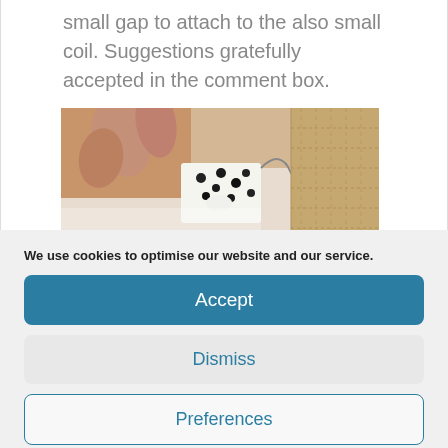small gap to attach to the also small coil. Suggestions gratefully accepted in the comment box.
[Figure (photo): Hands working with small electronic components and coils on a white surface, with cardboard material visible in the background]
We use cookies to optimise our website and our service.
Accept
Dismiss
Preferences